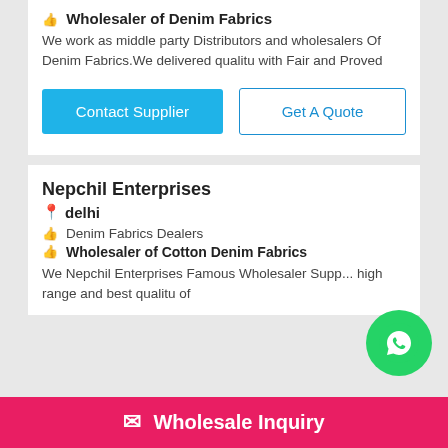Wholesaler of Denim Fabrics
We work as middle party Distributors and wholesalers Of Denim Fabrics.We delivered qualitu with Fair and Proved
Contact Supplier
Get A Quote
Nepchil Enterprises
delhi
Denim Fabrics Dealers
Wholesaler of Cotton Denim Fabrics
We Nepchil Enterprises Famous Wholesaler Supp... high range and best qualitu of
Wholesale Inquiry